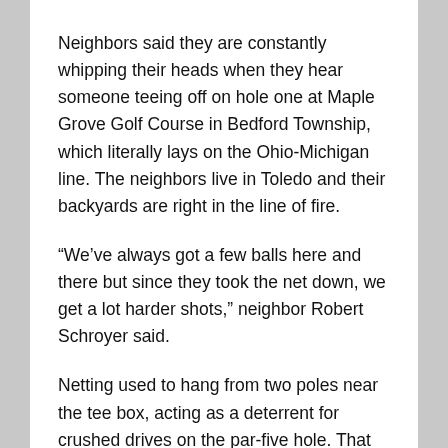Neighbors said they are constantly whipping their heads when they hear someone teeing off on hole one at Maple Grove Golf Course in Bedford Township, which literally lays on the Ohio-Michigan line. The neighbors live in Toledo and their backyards are right in the line of fire.
“We’ve always got a few balls here and there but since they took the net down, we get a lot harder shots,” neighbor Robert Schroyer said.
Netting used to hang from two poles near the tee box, acting as a deterrent for crushed drives on the par-five hole. That was until about a year ago when it was taken down.
That’s when Schroyer said the trouble started. “Hitting property, breaking windows, and now we’re